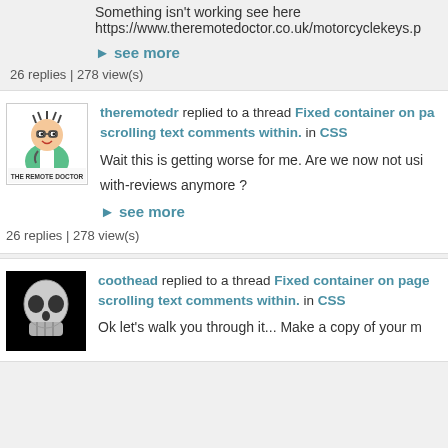Something isn't working see here
https://www.theremotedoctor.co.uk/motorcyclekeys.p
▸ see more
26 replies | 278 view(s)
theremotedr replied to a thread Fixed container on page scrolling text comments within. in CSS
Wait this is getting worse for me. Are we now not using with-reviews anymore ?
▸ see more
26 replies | 278 view(s)
[Figure (logo): The Remote Doctor logo — cartoon doctor character with 'THE REMOTE DOCTOR' text below]
coothead replied to a thread Fixed container on page scrolling text comments within. in CSS
[Figure (photo): Dark image of a skull on black background]
Ok let's walk you through it... Make a copy of your m